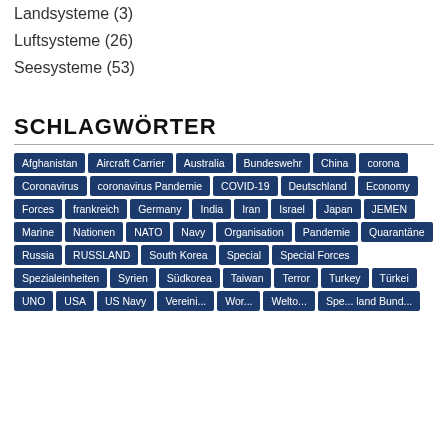Landsysteme (3)
Luftsysteme (26)
Seesysteme (53)
SCHLAGWÖRTER
Afghanistan Aircraft Carrier Australia Bundeswehr China corona Coronavirus coronavirus Pandemie COVID-19 Deutschland Economy Forces frankreich Germany India Iran Israel Japan JEMEN Marine Nationen NATO Navy Organisation Pandemie Quarantäne Russia RUSSLAND South Korea Special Special Forces Spezialeinheiten Syrien Südkorea Taiwan Terror Turkey Türkei UNO USA US Navy